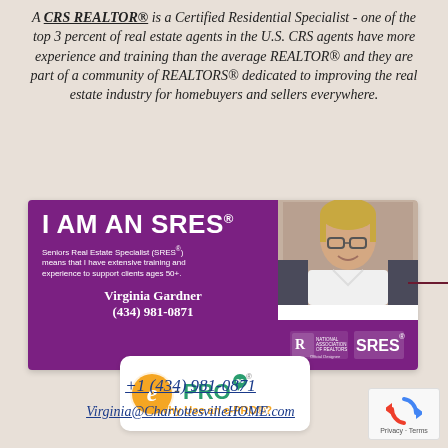A CRS REALTOR® is a Certified Residential Specialist - one of the top 3 percent of real estate agents in the U.S. CRS agents have more experience and training than the average REALTOR® and they are part of a community of REALTORS® dedicated to improving the real estate industry for homebuyers and sellers everywhere.
[Figure (infographic): SRES (Seniors Real Estate Specialist) promotional card with purple background. Left side shows 'I AM AN SRES®' in large white bold text, descriptor text, Virginia Gardner name and phone (434) 981-0871. Right side shows photo of smiling older woman with short blonde hair and glasses in white blouse, and National Association of Realtors / SRES logos on purple bottom strip.]
[Figure (logo): e-PRO® certification logo with orange circle 'e' and teal/green PRO text with speech bubble icon, and text 'Why Use an e-PRO®?' in orange below.]
+1 (434) 981-0871
Virginia@CharlottesvilleHOME.com
[Figure (other): Google reCAPTCHA widget showing recycle-arrows icon and 'Privacy · Terms' text.]